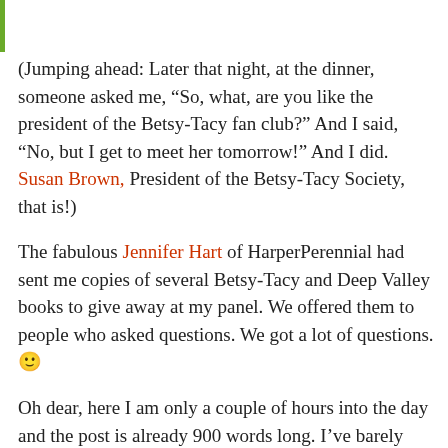(Jumping ahead: Later that night, at the dinner, someone asked me, “So, what, are you like the president of the Betsy-Tacy fan club?” And I said, “No, but I get to meet her tomorrow!” And I did. Susan Brown, President of the Betsy-Tacy Society, that is!)
The fabulous Jennifer Hart of HarperPerennial had sent me copies of several Betsy-Tacy and Deep Valley books to give away at my panel. We offered them to people who asked questions. We got a lot of questions. 🙂
Oh dear, here I am only a couple of hours into the day and the post is already 900 words long. I’ve barely begun! What’s to be done? I have notes on all the panels I attended; tomorrow I’ll try to type them up the way I do my Comic-Con notes. Of course many of the best moments happened in the interstices: discussing